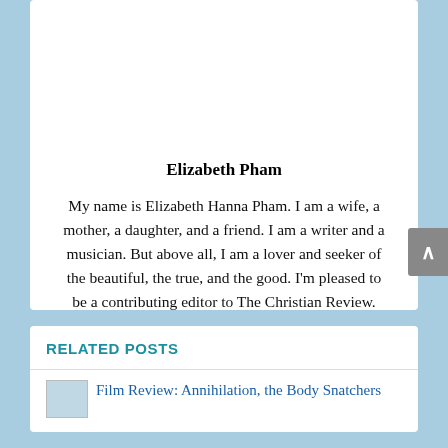Elizabeth Pham
My name is Elizabeth Hanna Pham. I am a wife, a mother, a daughter, and a friend. I am a writer and a musician. But above all, I am a lover and seeker of the beautiful, the true, and the good. I'm pleased to be a contributing editor to The Christian Review.
RELATED POSTS
Film Review: Annihilation, the Body Snatchers